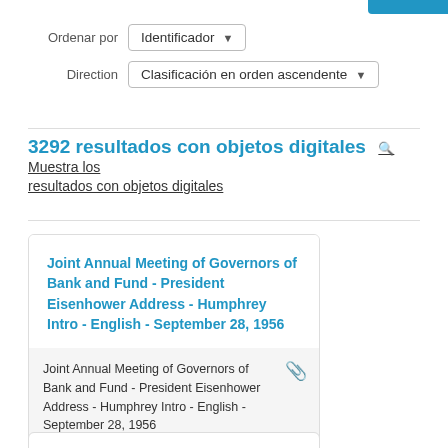Ordenar por  Identificador
Direction  Clasificación en orden ascendente
3292 resultados con objetos digitales  🔍 Muestra los resultados con objetos digitales
Joint Annual Meeting of Governors of Bank and Fund - President Eisenhower Address - Humphrey Intro - English - September 28, 1956
Joint Annual Meeting of Governors of Bank and Fund - President Eisenhower Address - Humphrey Intro - English - September 28, 1956